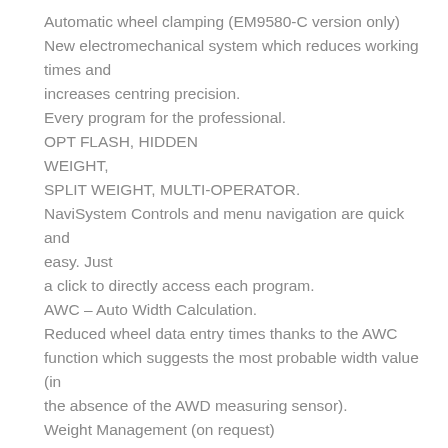Automatic wheel clamping (EM9580-C version only)
New electromechanical system which reduces working times and increases centring precision.
Every program for the professional.
OPT FLASH, HIDDEN WEIGHT, SPLIT WEIGHT, MULTI-OPERATOR.
NaviSystem Controls and menu navigation are quick and easy. Just a click to directly access each program.
AWC – Auto Width Calculation.
Reduced wheel data entry times thanks to the AWC function which suggests the most probable width value (in the absence of the AWD measuring sensor).
Weight Management (on request)